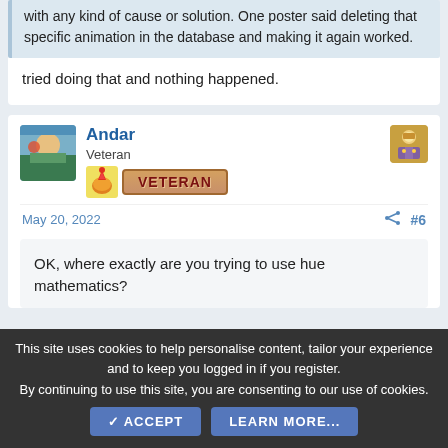with any kind of cause or solution. One poster said deleting that specific animation in the database and making it again worked.
tried doing that and nothing happened.
Andar
Veteran
VETERAN
May 20, 2022
#6
OK, where exactly are you trying to use hue mathematics?
This site uses cookies to help personalise content, tailor your experience and to keep you logged in if you register. By continuing to use this site, you are consenting to our use of cookies.
ACCEPT
LEARN MORE...